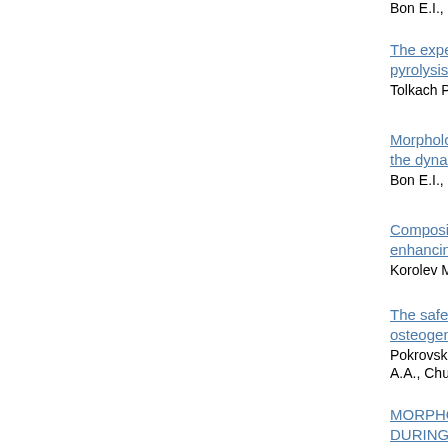Bon E.I., Maksimo
The experimen pyrolysis produ
Tolkach P.G., Bash
Morphological the dynamics s
Bon E.I., Maksimo
Composition ba enhancing dru
Korolev M.A., Rac
The safety of th osteogenic ind
Pokrovskaya L.A., A.A., Churin A.A.,
MORPHOLOG DURING USE
Zhukov D.V., Ryba
EFFECT OF U BIOGENIC AM
Frantsiyants E.M.,
Pogorelova Yu.A.